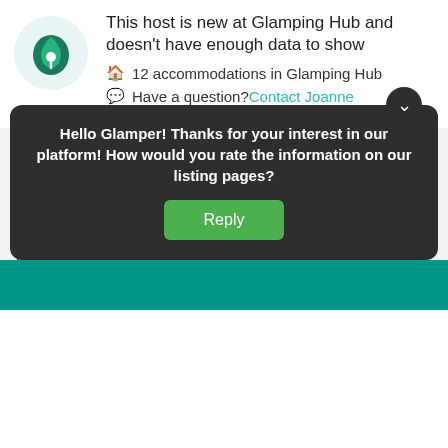[Figure (logo): Glamping Hub logo - green leaf/drop icon in a light blue-gray circle]
This host is new at Glamping Hub and doesn't have enough data to show
🏠 12 accommodations in Glamping Hub
💬 Have a question? Contact Joanne
5.0 - 1 Review
Most recent
Todd Fleischman, USA. Jun 2021
My family really enjoyed our three nights on the property. Beautiful spaces, great salt water pool, tasty break... Very
Hello Glamper! Thanks for your interest in our platform! How would you rate the information on our listing pages?
Reply